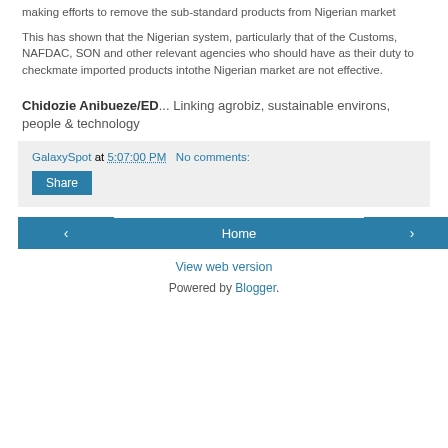making efforts to remove the sub-standard products from Nigerian market
This has shown that the Nigerian system, particularly that of the Customs, NAFDAC, SON and other relevant agencies who should have as their duty to checkmate imported products intothe Nigerian market are not effective.
Chidozie Anibueze/ED... Linking agrobiz, sustainable environs, people & technology
GalaxySpot at 5:07:00 PM   No comments:
Share
Home
View web version
Powered by Blogger.